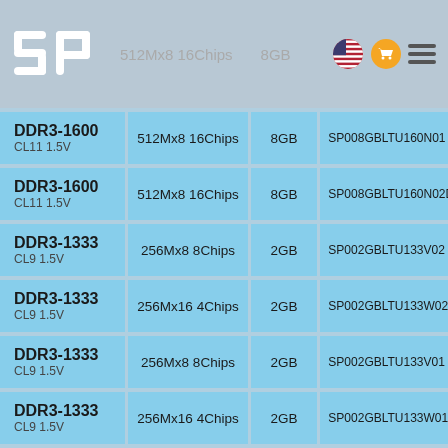SP logo | 512Mx8 16Chips | 8GB | SP008GBLTU160N01 (partial header)
| Type | Configuration | Capacity | Part Number |
| --- | --- | --- | --- |
| DDR3-1600 CL11 1.5V | 512Mx8 16Chips | 8GB | SP008GBLTU160N01 |
| DDR3-1600 CL11 1.5V | 512Mx8 16Chips | 8GB | SP008GBLTU160N02DA |
| DDR3-1333 CL9 1.5V | 256Mx8 8Chips | 2GB | SP002GBLTU133V02 |
| DDR3-1333 CL9 1.5V | 256Mx16 4Chips | 2GB | SP002GBLTU133W02 |
| DDR3-1333 CL9 1.5V | 256Mx8 8Chips | 2GB | SP002GBLTU133V01 |
| DDR3-1333 CL9 1.5V | 256Mx16 4Chips | 2GB | SP002GBLTU133W01 |
| DDR3-1333 CL9 1.5V | 256Mx16 8Chips | 4GB | SP004GBLTU133W01 |